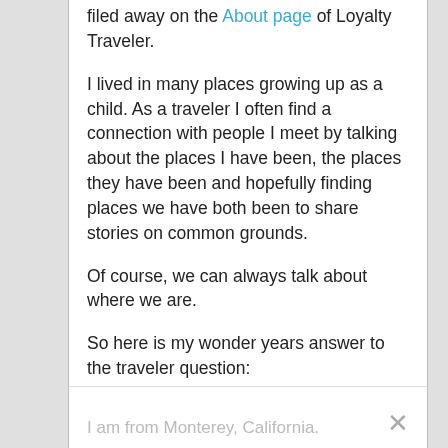filed away on the About page of Loyalty Traveler.
I lived in many places growing up as a child. As a traveler I often find a connection with people I meet by talking about the places I have been, the places they have been and hopefully finding places we have both been to share stories on common grounds.
Of course, we can always talk about where we are.
So here is my wonder years answer to the traveler question:
“Where are you from?”
I am from Monterey, California.